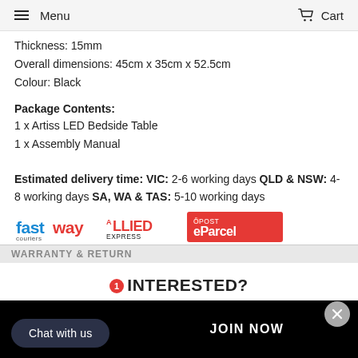Menu   Cart
Thickness: 15mm
Overall dimensions: 45cm x 35cm x 52.5cm
Colour: Black
Package Contents:
1 x Artiss LED Bedside Table
1 x Assembly Manual
Estimated delivery time: VIC: 2-6 working days QLD & NSW: 4-8 working days SA, WA & TAS: 5-10 working days
[Figure (logo): Courier logos: Fastway Couriers, Allied Express, Australia Post eParcel]
WARRANTY & RETURN
INTERESTED?
Chat with us
JOIN NOW